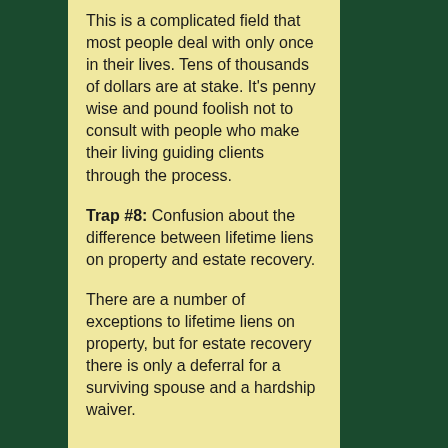This is a complicated field that most people deal with only once in their lives. Tens of thousands of dollars are at stake. It’s penny wise and pound foolish not to consult with people who make their living guiding clients through the process.
Trap #8: Confusion about the difference between lifetime liens on property and estate recovery.
There are a number of exceptions to lifetime liens on property, but for estate recovery there is only a deferral for a surviving spouse and a hardship waiver.